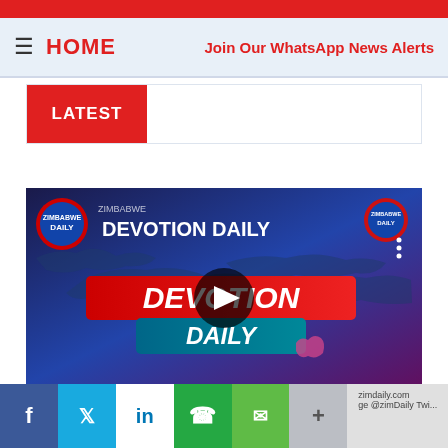HOME   Join Our WhatsApp News Alerts
LATEST
[Figure (screenshot): Video thumbnail for 'Devotion Daily' show by Zimbabwe Daily, showing a world map background with 'DEVOTION' in large red banner text and 'DAILY' below, with a play button overlay in the center.]
Facebook | Twitter | LinkedIn | WhatsApp | SMS | More | zimdaily.com | @zimDaily Twi...